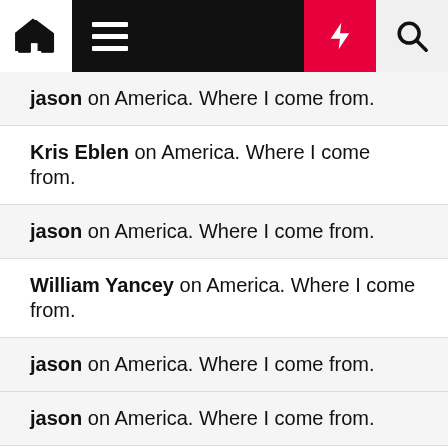Navigation bar with home icon, menu, bolt icon, search icon
jason on America. Where I come from.
Kris Eblen on America. Where I come from.
jason on America. Where I come from.
William Yancey on America. Where I come from.
jason on America. Where I come from.
jason on America. Where I come from.
Ginger Buchanan on America. Where I come from.
Dale Guyton on America. Where I come from.
jason on We say grace and ma'am and if you ain't